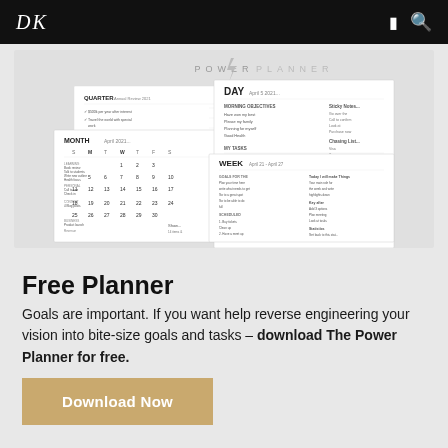DK [logo]  [bookmark icon] [search icon]
[Figure (photo): Power Planner product mockup showing multiple planner pages: Quarter, Month, Day, and Week views laid overlapping on a light grey background, with 'POWER PLANNER' logo text and lightning bolt icon at top.]
Free Planner
Goals are important. If you want help reverse engineering your vision into bite-size goals and tasks – download The Power Planner for free.
Download Now